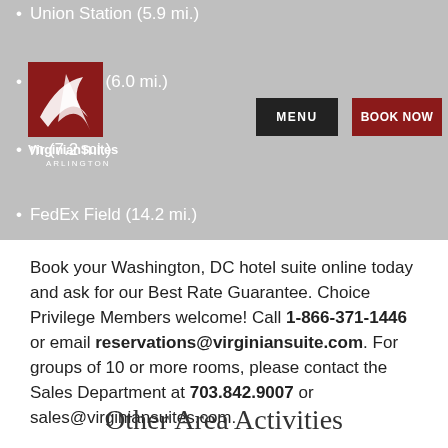Virginian Suites Arlington — Navigation header with MENU and BOOK NOW buttons
Union Station (5.9 mi.)
Nationals Park (6.0 mi.)
(item) (7.2 mi.)
FedEx Field (14.2 mi.)
Book your Washington, DC hotel suite online today and ask for our Best Rate Guarantee. Choice Privilege Members welcome! Call 1-866-371-1446 or email reservations@virginiansuite.com. For groups of 10 or more rooms, please contact the Sales Department at 703.842.9007 or sales@virginiansuites.com.
Other Area Activities